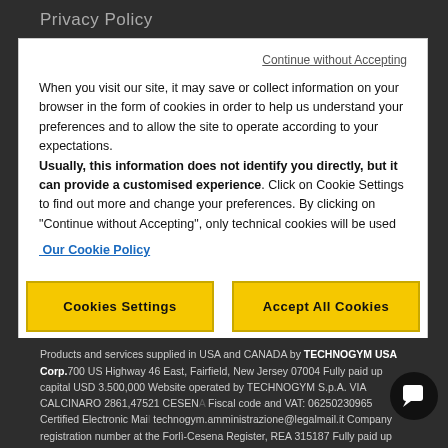Privacy Policy
Continue without Accepting
When you visit our site, it may save or collect information on your browser in the form of cookies in order to help us understand your preferences and to allow the site to operate according to your expectations. Usually, this information does not identify you directly, but it can provide a customised experience. Click on Cookie Settings to find out more and change your preferences. By clicking on "Continue without Accepting", only technical cookies will be used
Our Cookie Policy
Cookies Settings
Accept All Cookies
Products and services supplied in USA and CANADA by TECHNOGYM USA Corp.700 US Highway 46 East, Fairfield, New Jersey 07004 Fully paid up capital USD 3.500,000 Website operated by TECHNOGYM S.p.A. VIA CALCINARO 2861,47521 CESENA Fiscal code and VAT: 06250230965 Certified Electronic Mail: technogym.amministrazione@legalmail.it Company registration number at the Forlì-Cesena Register, REA 315187 Fully paid up